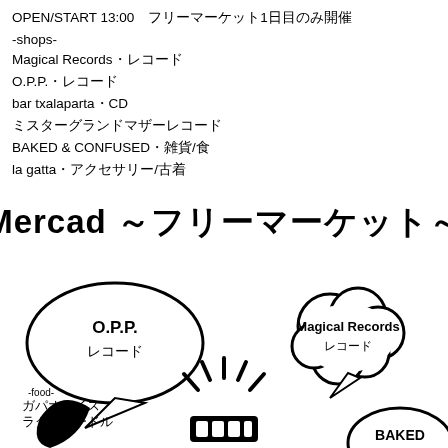OPEN/START 13:00　フリーマーケット1日目のみ開催
-shops-
Magical Records・レコード
O.P.P.・レコード
bar txalaparta・CD
ミスターグランドマザーレコード
BAKED & CONFUSED・雑貨/食
la gatta・アクセサリー/古着
[Figure (illustration): Mercad ~フリーマーケット~ promotional illustration with speech bubbles showing O.P.P. レコード, Magical Records レコード, BAKED, and food items including ガパオライス and ラクサヌードル, with a central radiating graphic element.]